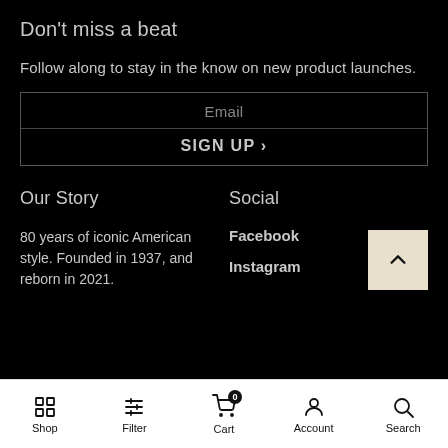Don't miss a beat
Follow along to stay in the know on new product launches.
[Figure (other): Email sign-up form with Email placeholder text and SIGN UP › button, bordered box]
Our Story
Social
80 years of iconic American style. Founded in 1937, and reborn in 2021.
Facebook
Instagram
Shop  Filter  Cart 0  Account  Search